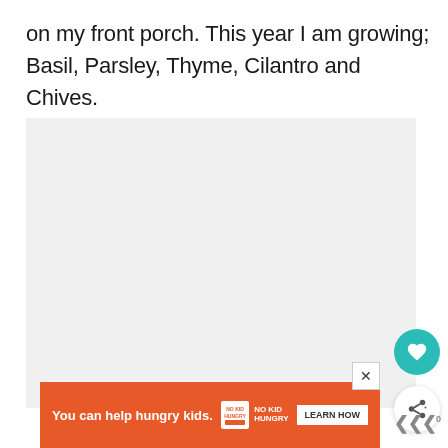on my front porch. This year I am growing; Basil, Parsley, Thyme, Cilantro and Chives.
[Figure (photo): A light gray placeholder image area with three gray dots indicating an image slider/carousel loading state.]
[Figure (other): Advertisement banner: orange background with text 'You can help hungry kids.' alongside No Kid Hungry badge and 'LEARN HOW' button. An X close button appears at top right of the banner.]